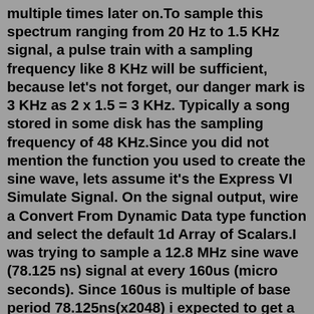multiple times later on.To sample this spectrum ranging from 20 Hz to 1.5 KHz signal, a pulse train with a sampling frequency like 8 KHz will be sufficient, because let's not forget, our danger mark is 3 KHz as 2 x 1.5 = 3 KHz. Typically a song stored in some disk has the sampling frequency of 48 KHz.Since you did not mention the function you used to create the sine wave, lets assume it's the Express VI Simulate Signal. On the signal output, wire a Convert From Dynamic Data type function and select the default 1d Array of Scalars.I was trying to sample a 12.8 MHz sine wave (78.125 ns) signal at every 160us (micro seconds). Since 160us is multiple of base period 78.125ns(x2048) i expected to get a sample of fixed amplitude but ... Understanding sine wave generation in Python with linspace. Ask Question Asked 2 years, 2 months ago. Modified 2 years, 2 months ago. Viewed ...Feb 09, 2021 · That wave doesn't seem a sine, more like a sawtooth (but could be related to the antialiasing of matplotlib). Also, a